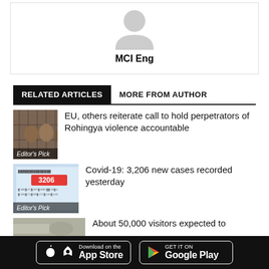[Figure (illustration): Gray avatar placeholder icon (person silhouette) inside a white bordered box]
MCI Eng
RELATED ARTICLES    MORE FROM AUTHOR
[Figure (photo): Children behind a fence, Rohingya article thumbnail with Editor's Pick badge]
EU, others reiterate call to hold perpetrators of Rohingya violence accountable
[Figure (screenshot): Covid-19 statistics dashboard showing 3206 cases, Editor's Pick badge]
Covid-19: 3,206 new cases recorded yesterday
[Figure (photo): Partial thumbnail of third article]
About 50,000 visitors expected to
Download on the App Store    GET IT ON Google Play